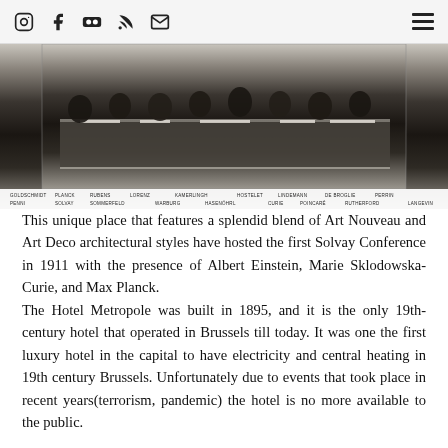Social media icons and hamburger menu
[Figure (photo): Black and white historical photograph of the first Solvay Conference 1911, showing scientists seated around a long table with papers and books. Caption bar below lists names including Goldschmidt, Planck, Rubens, Lorenz, Kamerlingh Onnes, Hostelet, Lindemann, de Broglie, Perrin, Wien, Curie, Poincaré, Rutherford, Einstein, Langevin, Solvay, Sommerfeld, Warburg, Hasenöhrl, Laurent.]
This unique place that features a splendid blend of Art Nouveau and Art Deco architectural styles have hosted the first Solvay Conference in 1911 with the presence of Albert Einstein, Marie Sklodowska-Curie, and Max Planck.
The Hotel Metropole was built in 1895, and it is the only 19th-century hotel that operated in Brussels till today. It was one the first luxury hotel in the capital to have electricity and central heating in 19th century Brussels. Unfortunately due to events that took place in recent years(terrorism, pandemic) the hotel is no more available to the public.